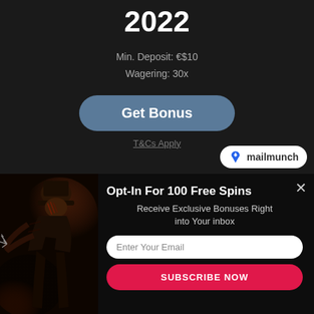2022
Min. Deposit: €$10
Wagering: 30x
Get Bonus
T&Cs Apply
[Figure (logo): Mailmunch logo badge with blue flame/letter M icon and text 'mailmunch']
Opt-In For 100 Free Spins
Receive Exclusive Bonuses Right into Your inbox
[Figure (photo): Dark horror-themed image, silhouette figure (Freddy Krueger-like) against dark background with reddish tones]
Enter Your Email
SUBSCRIBE NOW